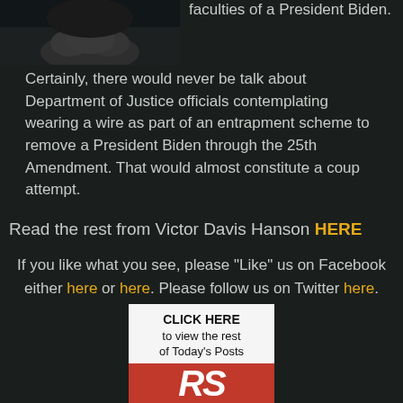[Figure (photo): Cropped photo of a person with clasped hands, dark background]
faculties of a President Biden.
Certainly, there would never be talk about Department of Justice officials contemplating wearing a wire as part of an entrapment scheme to remove a President Biden through the 25th Amendment. That would almost constitute a coup attempt.
Read the rest from Victor Davis Hanson HERE
If you like what you see, please "Like" us on Facebook either here or here. Please follow us on Twitter here.
[Figure (screenshot): Advertisement box: CLICK HERE to view the rest of Today's Posts, with red RS logo at bottom]